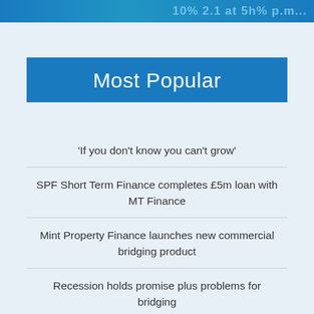‘If you don’t know you can’t grow’
Most Popular
‘If you don’t know you can’t grow’
SPF Short Term Finance completes £5m loan with MT Finance
Mint Property Finance launches new commercial bridging product
Recession holds promise plus problems for bridging
Castle Trust completes £1.37m heavy refurbishment bridging loan